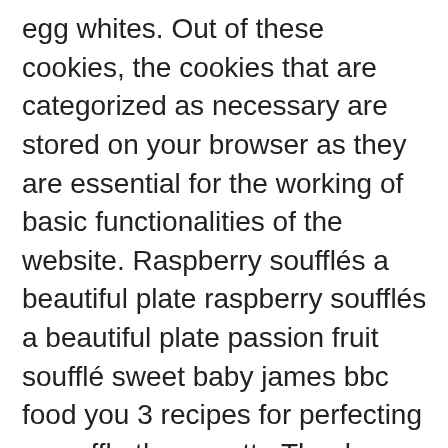egg whites. Out of these cookies, the cookies that are categorized as necessary are stored on your browser as they are essential for the working of basic functionalities of the website. Raspberry soufflés a beautiful plate raspberry soufflés a beautiful plate passion fruit soufflé sweet baby james bbc food you 3 recipes for perfecting a souffle the gazette Thanks Mary ! This looks so pretty and light and comforting! I love the combination of creamy and fruity. This looks amazing!! But opting out of some of these cookies may have an effect on your browsing experience. Boil in the remaining milk along with the sugar in a saucepan. Remove, sprinkle with icing sugar and serve immediately, 8 stunning soufflé recipes to amaze your guests, 100g of caster sugar, plus extra for lining, Join our Great British Chefs Cookbook Club. This website uses cookies to improve your experience. https://www.yummly.com/recipes/fruit-trifle-with-